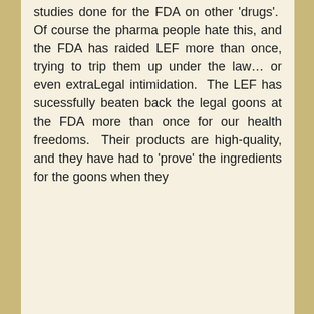studies done for the FDA on other 'drugs'. Of course the pharma people hate this, and the FDA has raided LEF more than once, trying to trip them up under the law… or even extraLegal intimidation. The LEF has sucessfully beaten back the legal goons at the FDA more than once for our health freedoms. Their products are high-quality, and they have had to 'prove' the ingredients for the goons when they